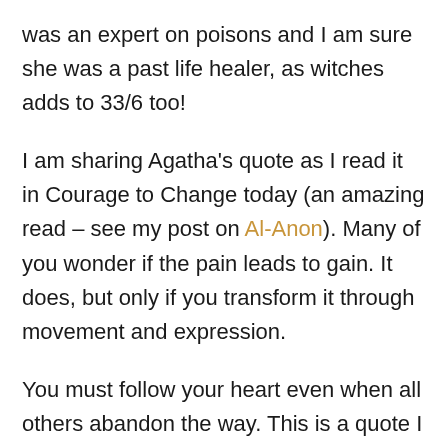was an expert on poisons and I am sure she was a past life healer, as witches adds to 33/6 too!
I am sharing Agatha's quote as I read it in Courage to Change today (an amazing read – see my post on Al-Anon). Many of you wonder if the pain leads to gain. It does, but only if you transform it through movement and expression.
You must follow your heart even when all others abandon the way. This is a quote I saw at the Brisbane Quantum Healing Centre run by Vivian Tong (where I do readings, she is one of my 33 life path friends. My friend shaman di Mor...